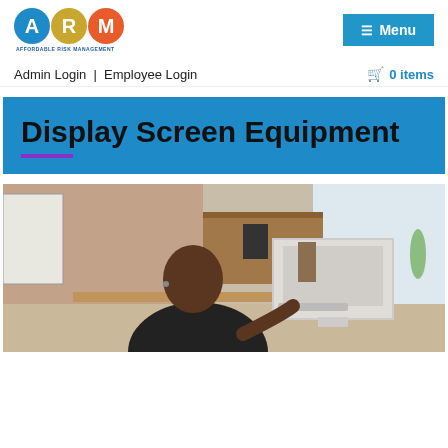[Figure (logo): ARM - Affordable Risk Management logo with three colored circles containing letters A, R, M]
[Figure (other): Menu button with hamburger icon]
Admin Login | Employee Login
0 items
Display Screen Equipment
[Figure (photo): Man sitting at a desk working at a computer monitor in a modern office with brick walls]